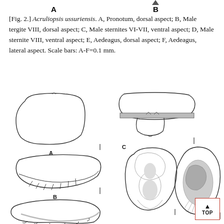[Fig. 2.] Acruliopsis ussuriensis. A, Pronotum, dorsal aspect; B, Male tergite VIII, dorsal aspect; C, Male sternites VI-VII, ventral aspect; D, Male sternite VIII, ventral aspect; E, Aedeagus, dorsal aspect; F, Aedeagus, lateral aspect. Scale bars: A-F=0.1 mm.
[Figure (illustration): Scientific illustrations of Acruliopsis ussuriensis morphological structures: A) Pronotum dorsal view (rounded trapezoidal shape), B) Male tergite VIII dorsal view (wide concave lower edge with setae), C) Male sternites VI-VII ventral view (trapezoidal with transverse band and small projections), D) Male sternite VIII ventral view (wide shape with curved lower edge), E) Aedeagus dorsal view (oval with internal structures), F) Aedeagus lateral view (irregular shape with dense internal structures). Scale bar labels A and B at top, A, B, C labels on figures.]